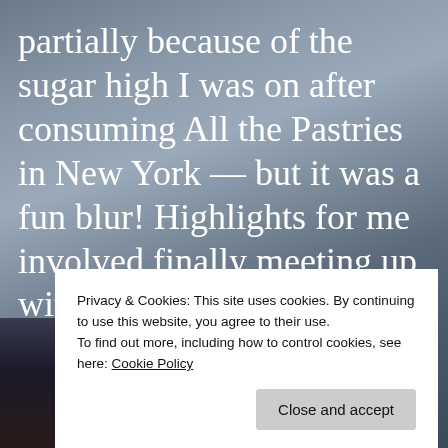partially because of the sugar high I was on after consuming All the Pastries in New York — but it was a fun blur! Highlights for me involved finally meeting up with lovely Haralambi Markov and spending much of the weekend taking supermodel selfies; catching up with my Canadian sisters, Helen and Laura Marshall (though I always want to spend more time with them than
[Figure (photo): Partial photo of person visible at bottom-left corner of page]
Privacy & Cookies: This site uses cookies. By continuing to use this website, you agree to their use.
To find out more, including how to control cookies, see here: Cookie Policy
Close and accept